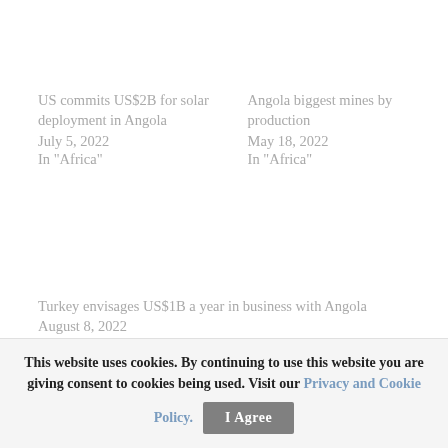US commits US$2B for solar deployment in Angola
July 5, 2022
In "Africa"
Angola biggest mines by production
May 18, 2022
In "Africa"
Turkey envisages US$1B a year in business with Angola
August 8, 2022
This website uses cookies. By continuing to use this website you are giving consent to cookies being used. Visit our Privacy and Cookie Policy.   I Agree